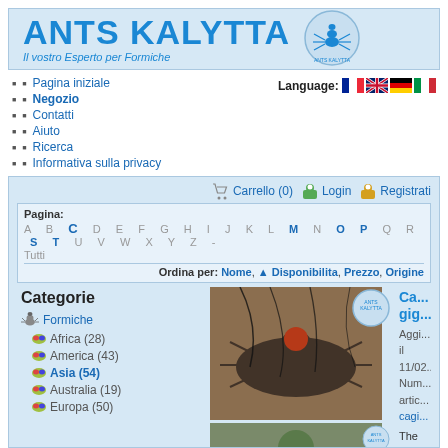[Figure (logo): Ants Kalytta logo with blue text and ant illustration]
Pagina iniziale
Negozio
Contatti
Aiuto
Ricerca
Informativa sulla privacy
Language: [FR] [EN] [DE] [IT]
Carrello (0)
Login
Registrati
Pagina: A B C D E F G H I J K L M N O P Q R S T U V W X Y Z - Tutti
Ordina per: Nome, ▲ Disponibilita, Prezzo, Origine
Categorie
Formiche
Africa (28)
America (43)
Asia (54)
Australia (19)
Europa (50)
[Figure (photo): Close-up photo of a large black ant on a human hand with dark hair]
Ca... gig... Aggi... il 11/02... Num... artic... cagi... The large ant of...